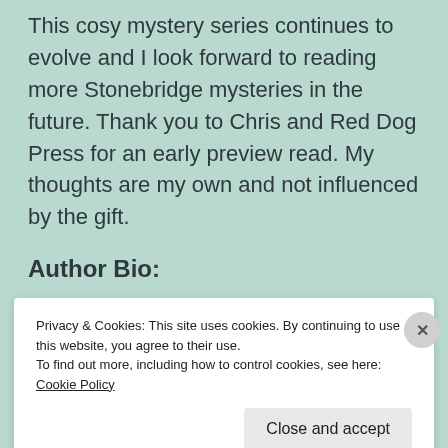This cosy mystery series continues to evolve and I look forward to reading more Stonebridge mysteries in the future. Thank you to Chris and Red Dog Press for an early preview read. My thoughts are my own and not influenced by the gift.
Author Bio:
Privacy & Cookies: This site uses cookies. By continuing to use this website, you agree to their use.
To find out more, including how to control cookies, see here: Cookie Policy
Close and accept